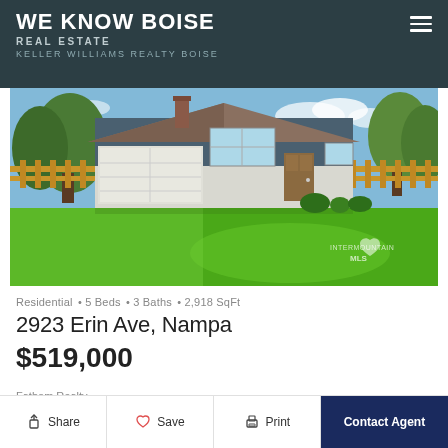WE KNOW BOISE REAL ESTATE KELLER WILLIAMS REALTY BOISE
[Figure (photo): Exterior photo of a single-story ranch-style home with blue/gray siding, white brick base, attached two-car garage, large green lawn, and trees in background. Watermark reads INTERMOUNTAIN MLS.]
Residential • 5 Beds • 3 Baths • 2,918 SqFt
2923 Erin Ave, Nampa
$519,000
Fathom Realty
Share   Save   Print   Contact Agent